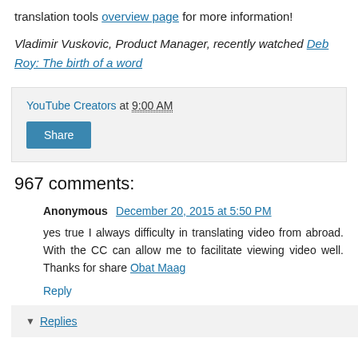translation tools overview page for more information!
Vladimir Vuskovic, Product Manager, recently watched Deb Roy: The birth of a word
YouTube Creators at 9:00 AM
Share
967 comments:
Anonymous December 20, 2015 at 5:50 PM
yes true I always difficulty in translating video from abroad. With the CC can allow me to facilitate viewing video well. Thanks for share Obat Maag
Reply
Replies